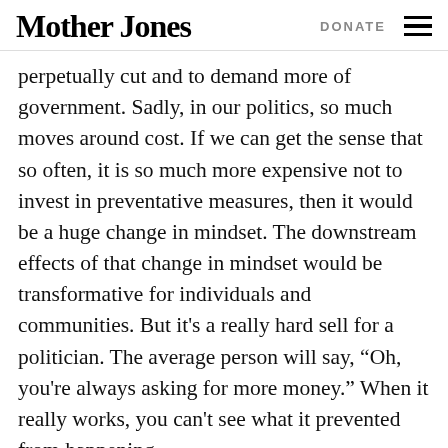Mother Jones | DONATE
perpetually cut and to demand more of government. Sadly, in our politics, so much moves around cost. If we can get the sense that so often, it is so much more expensive not to invest in preventative measures, then it would be a huge change in mindset. The downstream effects of that change in mindset would be transformative for individuals and communities. But it’s a really hard sell for a politician. The average person will say, “Oh, you’re always asking for more money.” When it really works, you can’t see what it prevented from happening.
WE’VE NEVER BEEN VERY GOOD AT BEING CONSISTENT